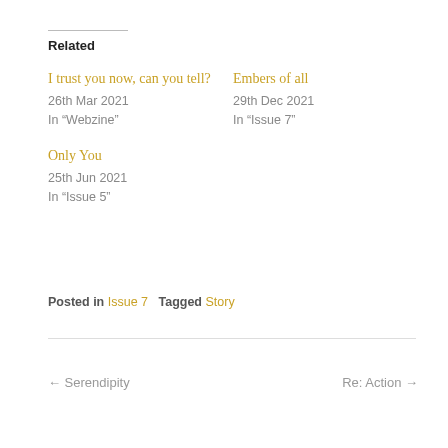Related
I trust you now, can you tell?
26th Mar 2021
In “Webzine”
Embers of all
29th Dec 2021
In “Issue 7”
Only You
25th Jun 2021
In “Issue 5”
Posted in Issue 7   Tagged Story
← Serendipity    Re: Action →